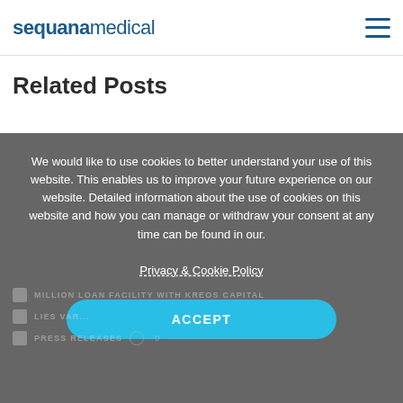sequanamedical
Related Posts
We would like to use cookies to better understand your use of this website. This enables us to improve your future experience on our website. Detailed information about the use of cookies on this website and how you can manage or withdraw your consent at any time can be found in our.
Privacy & Cookie Policy
ACCEPT
million loan facility with Kreos Capital
LIES VAR...
PRESS RELEASES  0